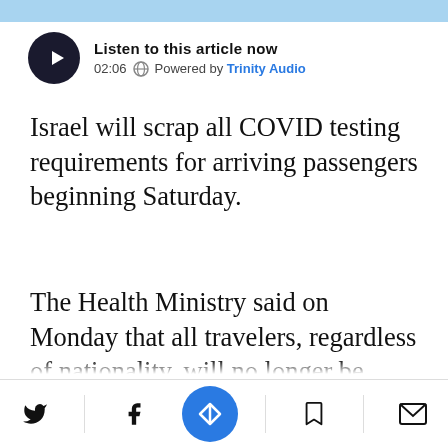[Figure (other): Audio player widget: play button (dark circle with triangle), text 'Listen to this article now', time '02:06', globe icon, 'Powered by Trinity Audio']
Israel will scrap all COVID testing requirements for arriving passengers beginning Saturday.
The Health Ministry said on Monday that all travelers, regardless of nationality, will no longer be required to present a negative test result before boarding a plane to Israel and will not have to undergo a COVID test upon entry.
Social share bar: Twitter, Facebook, Newsbreak, Bookmark, Email